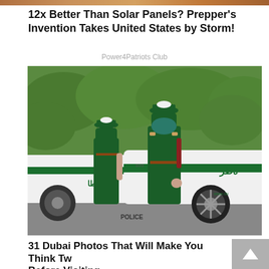[Figure (photo): Partial top strip of a photo (reddish/warm toned image cropped at top)]
12x Better Than Solar Panels? Prepper's Invention Takes United States by Storm!
Power4Patriots Club
[Figure (photo): Two female Dubai police officers in dark green uniforms and hijabs standing in front of white and green Dubai Police Ferrari sports cars. The word POLICE is visible on the front of the car. Arabic text and www.du visible on car.]
31 Dubai Photos That Will Make You Think Twice Before Visiting